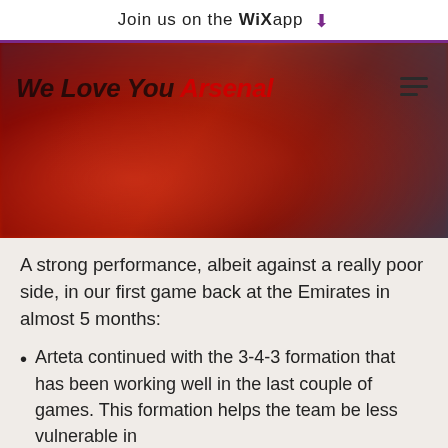Join us on the WiX app ↓
[Figure (photo): Blurred photo of Arsenal football players in red jerseys celebrating or huddling together, with 'We Love You Arsenal' overlaid as italic bold text (Arsenal in red, rest in dark), and a hamburger menu icon on the right]
A strong performance, albeit against a really poor side, in our first game back at the Emirates in almost 5 months:
Arteta continued with the 3-4-3 formation that has been working well in the last couple of games. This formation helps the team be less vulnerable in